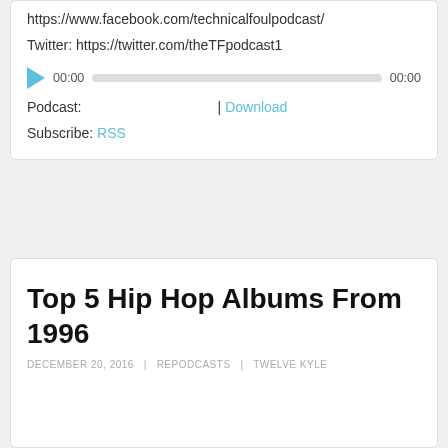https://www.facebook.com/technicalfoulpodcast/
Twitter: https://twitter.com/theTFpodcast1
[Figure (other): Audio player widget with play button, time 00:00, progress bar, and end time 00:00]
Podcast:  |  Download
Subscribe: RSS
Top 5 Hip Hop Albums From 1996
DECEMBER 20, 2016  |  REPODCASTS  |  TWELVE KYLE